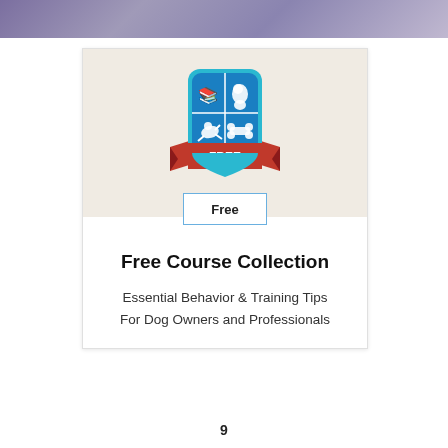[Figure (illustration): Purple/lavender textured background image strip at top of page]
[Figure (logo): Shield-shaped badge logo with blue background, divided into four quadrants showing a book, a sitting dog, a running dog, and a bone. A red ribbon banner crosses the bottom of the shield with the word FREE in white capital letters.]
Free
Free Course Collection
Essential Behavior & Training Tips For Dog Owners and Professionals
9